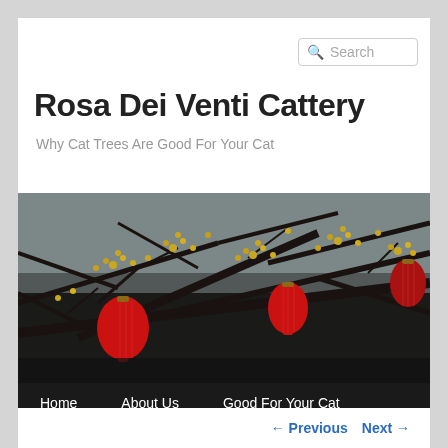Search
Rosa Dei Venti Cattery
Why Cat Trees Are Good For Your Cat
[Figure (photo): Outdoor scene showing bare tree branches with small yellow blossoms and three red Chinese lanterns hanging from the branches, against a grey sky background.]
Home
About Us
Good For Your Cat
Substitute Tree
Say Hi
← Previous   Next →